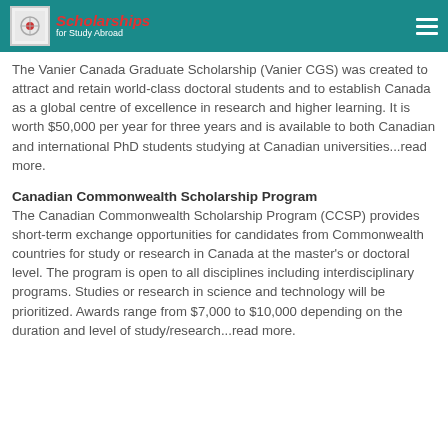Scholarships for Study Abroad
The Vanier Canada Graduate Scholarship (Vanier CGS) was created to attract and retain world-class doctoral students and to establish Canada as a global centre of excellence in research and higher learning. It is worth $50,000 per year for three years and is available to both Canadian and international PhD students studying at Canadian universities...read more.
Canadian Commonwealth Scholarship Program
The Canadian Commonwealth Scholarship Program (CCSP) provides short-term exchange opportunities for candidates from Commonwealth countries for study or research in Canada at the master's or doctoral level. The program is open to all disciplines including interdisciplinary programs. Studies or research in science and technology will be prioritized. Awards range from $7,000 to $10,000 depending on the duration and level of study/research...read more.